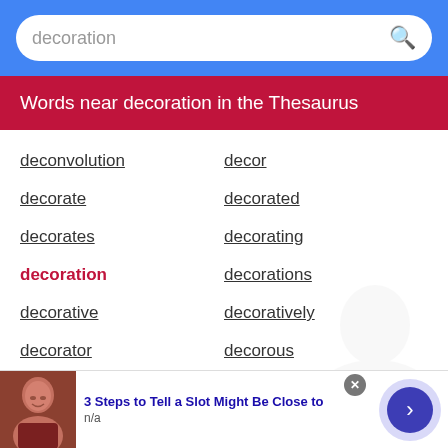decoration (search query)
Words near decoration in the Thesaurus
deconvolution
decor
decorate
decorated
decorates
decorating
decoration
decorations
decorative
decoratively
decorator
decorous
decorousness
3 Steps to Tell a Slot Might Be Close to
n/a